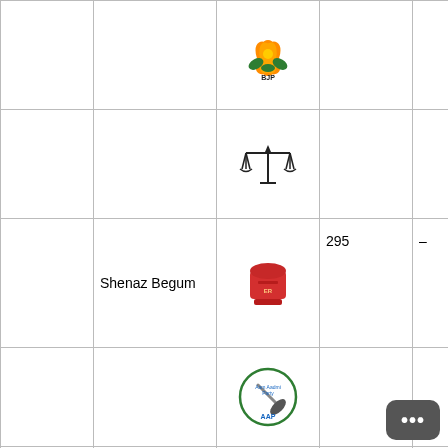| Ward No. | Name: | Party: | Votes: | Status: |
| --- | --- | --- | --- | --- |
|  |  | BJP (lotus) |  |  |
|  |  | Balance scales |  |  |
|  | Shenaz Begum | Post box (INC) | 295 | – |
|  |  | AAP |  |  |
|  | Parvinder Kaur | Person (IND) | 3544 | WON |
| Ward No.56 | Name: | Party: | Votes: | Status: |
|  | Sham Sunder Malhotra | INC hand | 3715 | WON |